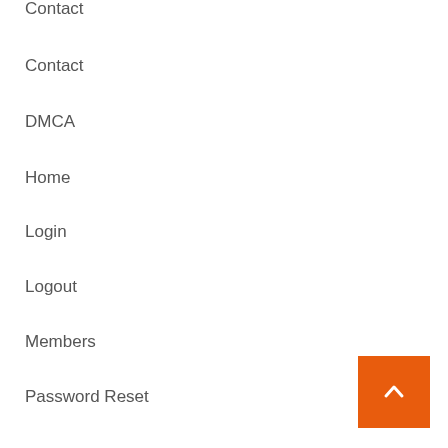Contact
Contact
DMCA
Home
Login
Logout
Members
Password Reset
Privacy Policy
Privacy Policy
Register
Sample Page
Sample Page
Sample Page
[Figure (other): Orange back-to-top button with upward chevron arrow]